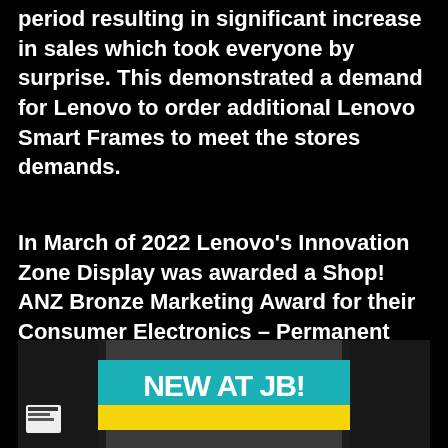period resulting in significant increase in sales which took everyone by surprise. This demonstrated a demand for Lenovo to order additional Lenovo Smart Frames to meet the stores demands.
In March of 2022 Lenovo's Innovation Zone Display was awarded a Shop! ANZ Bronze Marketing Award for their Consumer Electronics – Permanent Display Category.
[Figure (photo): Photo of a retail store display showing a 'NEW AT JB!' promotional sign in teal/turquoise and yellow colors, displayed in a JB Hi-Fi store setting with electronics in the background.]